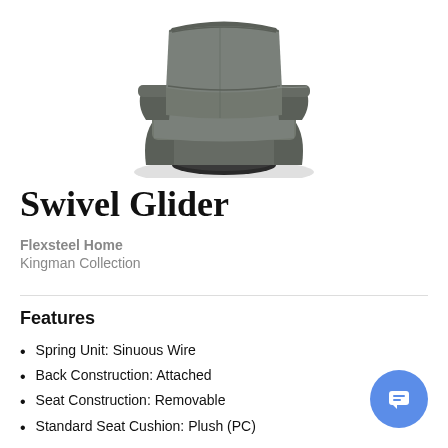[Figure (photo): A gray leather swivel glider chair photographed from a slightly elevated front-angle view against a white background. The chair has a modern design with cushioned back and seat, armrests, and a round swivel base.]
Swivel Glider
Flexsteel Home
Kingman Collection
Features
Spring Unit: Sinuous Wire
Back Construction: Attached
Seat Construction: Removable
Standard Seat Cushion: Plush (PC)